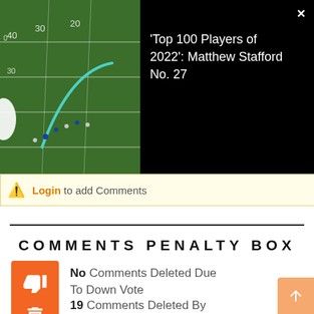[Figure (screenshot): Video thumbnail showing an aerial view of a football field with players and a teal route arc drawn on it, next to a black panel with the text: 'Top 100 Players of 2022': Matthew Stafford No. 27, with a close (X) button.]
Login to add Comments
COMMENTS PENALTY BOX
No Comments Deleted Due To Down Vote
19 Comments Deleted By Administrator